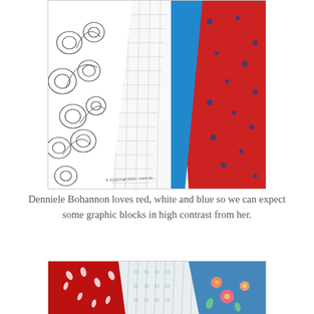[Figure (photo): Close-up photo of folded quilting fabrics: white fabric with hand-drawn spiral/circle patterns, white fabric with grid/striped pattern, solid blue fabric, and red fabric with small blue star/dot pattern.]
Denniele Bohannon loves red, white and blue so we can expect
some graphic blocks in high contrast from her.
[Figure (photo): Close-up photo of quilt fabrics including red fabric with white floral/leaf pattern, white/light blue striped fabric with small oval patterns, and blue fabric with colorful floral pattern.]